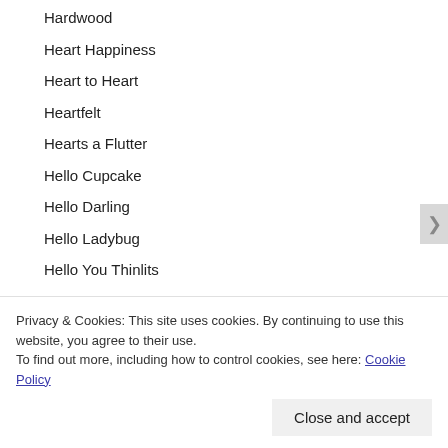Hardwood
Heart Happiness
Heart to Heart
Heartfelt
Hearts a Flutter
Hello Cupcake
Hello Darling
Hello Ladybug
Hello You Thinlits
Hello, Lovely
Privacy & Cookies: This site uses cookies. By continuing to use this website, you agree to their use.
To find out more, including how to control cookies, see here: Cookie Policy
Close and accept